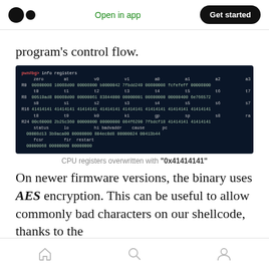Medium logo | Open in app | Get started
program's control flow.
[Figure (screenshot): Terminal screenshot showing GDB info registers output with CPU registers overwritten with value 0x41414141. Shows registers zero, at, v0, v1, a0, a1, a2, a3 for R0 row; t0-t7 for R8 row; s0-s7 for R16 row with all 41414141 values; t8, t9, k0, k1, gp, sp, s8, ra for R24 row; status, lo, hi, badvaddr, cause, pc; and fcsr, fir, restart rows.]
CPU registers overwritten with "0x41414141"
On newer firmware versions, the binary uses AES encryption. This can be useful to allow commonly bad characters on our shellcode, thanks to the
Home | Search | Profile navigation icons